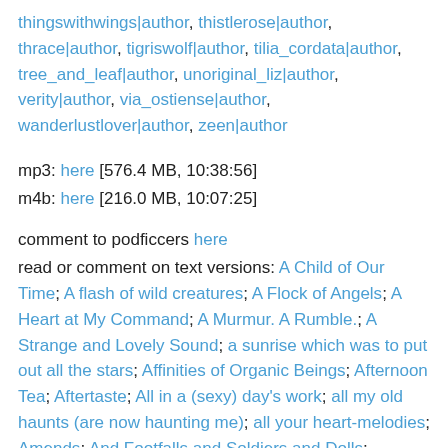thingswithwings|author, thistlerose|author, thrace|author, tigriswolf|author, tilia_cordata|author, tree_and_leaf|author, unoriginal_liz|author, verity|author, via_ostiense|author, wanderlustlover|author, zeen|author
mp3: here [576.4 MB, 10:38:56]
m4b: here [216.0 MB, 10:07:25]
comment to podficcers here
read or comment on text versions: A Child of Our Time; A flash of wild creatures; A Flock of Angels; A Heart at My Command; A Murmur. A Rumble.; A Strange and Lovely Sound; a sunrise which was to put out all the stars; Affinities of Organic Beings; Afternoon Tea; Aftertaste; All in a (sexy) day's work; all my old haunts (are now haunting me); all your heart-melodies; Amends; And Footfalls and Soldiers and Dolls; Animaux prédateurs; At Tilde; Authority Figure; Breadcrumbs; But Never Too Much; Creepy Muffin Basket; Daughter of the Ocean; Different People; Distractions; Dragon Lady; Dress for Success; Each One for Her Own; Each World of Blood is Made; Electric; Enthusiastic Consent; Falling Leaves of Red and Gold; First Blood; Five More Minutes; Five Ways River Tam Left Serenity; Friday; Heat Strategies; Herself;